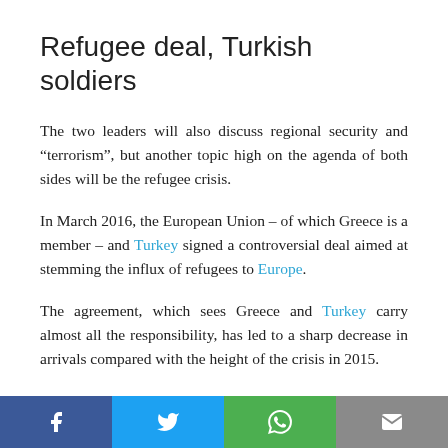Refugee deal, Turkish soldiers
The two leaders will also discuss regional security and “terrorism”, but another topic high on the agenda of both sides will be the refugee crisis.
In March 2016, the European Union – of which Greece is a member – and Turkey signed a controversial deal aimed at stemming the influx of refugees to Europe.
The agreement, which sees Greece and Turkey carry almost all the responsibility, has led to a sharp decrease in arrivals compared with the height of the crisis in 2015.
[Figure (infographic): Social media sharing bar with Facebook, Twitter, WhatsApp, and email icons]